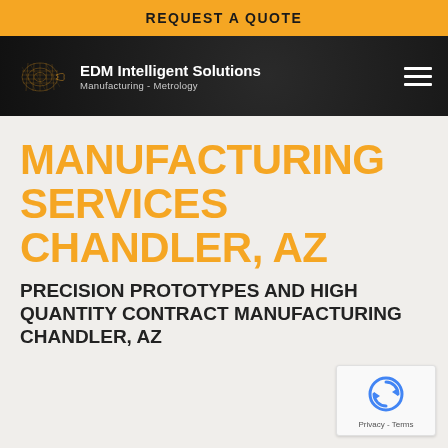REQUEST A QUOTE
[Figure (logo): EDM Intelligent Solutions logo with orange wireframe shape and company name. Navigation bar with hamburger menu on dark textured background.]
MANUFACTURING SERVICES CHANDLER, AZ
PRECISION PROTOTYPES AND HIGH QUANTITY CONTRACT MANUFACTURING CHANDLER, AZ
[Figure (other): Google reCAPTCHA badge with Privacy and Terms links]